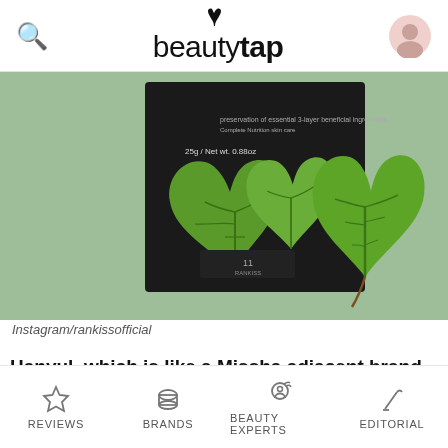beautytap
[Figure (photo): Product photo showing a dark sheet mask package with green mugwort/chrysanthemum leaves on a sage green background, from Instagram/rankissofficial]
Instagram/rankissofficial
Hanyul, which is like a Missha adjacent brand IMO, has an
REVIEWS  BRANDS  BEAUTY EXPERTS  EDITORIAL